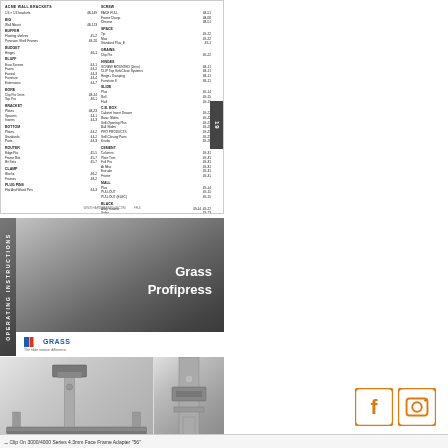[Figure (other): Catalog/index page thumbnail showing two-column alphabetical product index with page numbers, product category headings (BLUFF, ROUTER, BUDGET, BUFFET, etc.), with a dark page-number tab on the right edge showing '19']
[Figure (photo): Cover of 'Grass Profipress' operating instructions manual. Dark gradient background with white bold text reading 'Grass Profipress'. Vertical sidebar on left reads 'OPERATING INSTRUCTIONS'. Grass brand logo at bottom.]
[Figure (photo): Two photos of the Grass Profipress machine: left photo shows the machine from the front with a long rail/base, right photo shows a close-up of the pressing mechanism.]
[Figure (illustration): Social media icons: Facebook (f) and Instagram (camera) in orange/amber color]
Clip On 3000/4000 Series 4.3mm Face Frame Adapter "56"